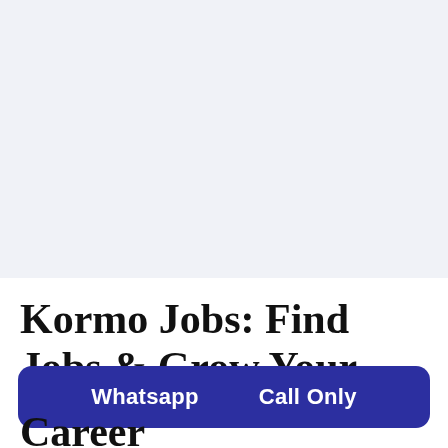Kormo Jobs: Find Jobs & Grow Your Career
Whatsapp   Call Only